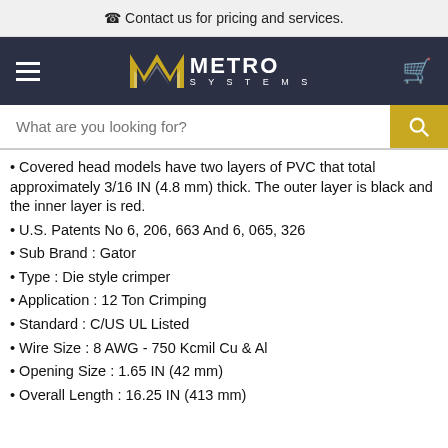Contact us for pricing and services.
[Figure (logo): Metro Systems logo with golden M mark on dark navy background, hamburger menu icon on left, cart icon on right]
What are you looking for?
Covered head models have two layers of PVC that total approximately 3/16 IN (4.8 mm) thick. The outer layer is black and the inner layer is red.
U.S. Patents No 6, 206, 663 And 6, 065, 326
Sub Brand : Gator
Type : Die style crimper
Application : 12 Ton Crimping
Standard : C/US UL Listed
Wire Size : 8 AWG - 750 Kcmil Cu & Al
Opening Size : 1.65 IN (42 mm)
Overall Length : 16.25 IN (413 mm)